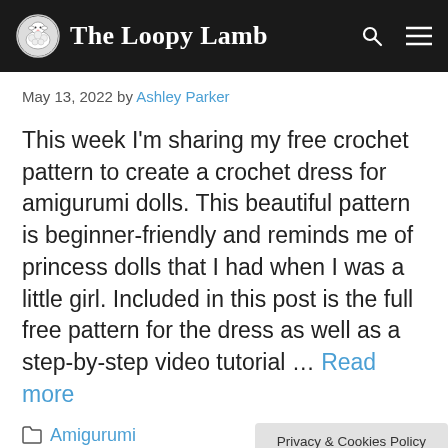The Loopy Lamb
May 13, 2022 by Ashley Parker
This week I'm sharing my free crochet pattern to create a crochet dress for amigurumi dolls. This beautiful pattern is beginner-friendly and reminds me of princess dolls that I had when I was a little girl. Included in this post is the full free pattern for the dress as well as a step-by-step video tutorial … Read more
Amigurumi
Privacy & Cookies Policy